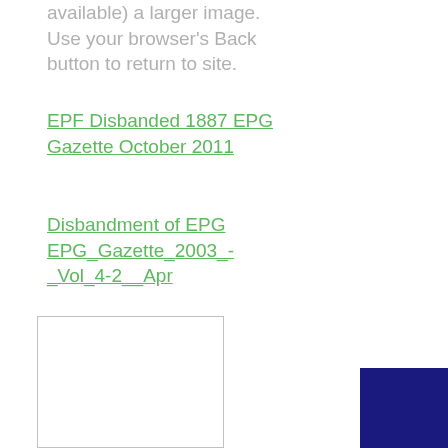available) a larger image. Use your browser's Back button to return to site.
EPF Disbanded 1887 EPG Gazette October 2011
Disbandment of EPG EPG_Gazette_2003_-_Vol_4-2__Apr
[Figure (other): White rectangle with border, partially visible image box]